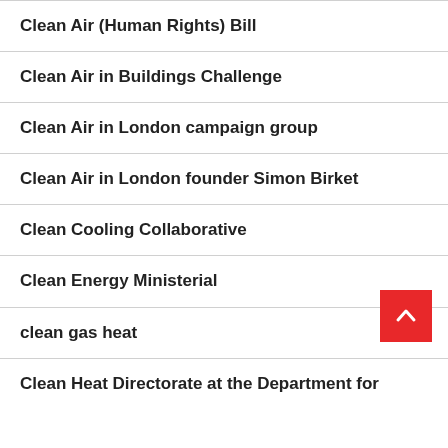Clean Air (Human Rights) Bill
Clean Air in Buildings Challenge
Clean Air in London campaign group
Clean Air in London founder Simon Birket
Clean Cooling Collaborative
Clean Energy Ministerial
clean gas heat
Clean Heat Directorate at the Department for